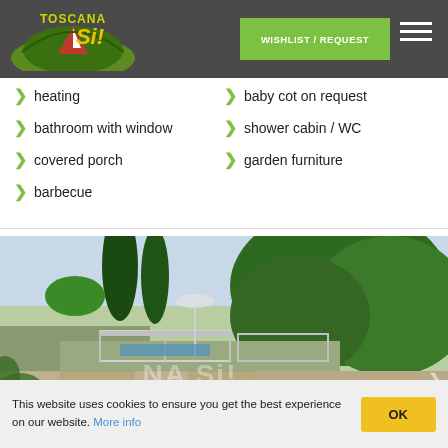Toscana Si! — WISHLIST / REQUEST
heating
baby cot on request
bathroom with window
shower cabin / WC
covered porch
garden furniture
barbecue
[Figure (photo): Outdoor view showing a pool area surrounded by lush green trees and vegetation, with cypress trees visible in the background, a folded umbrella, and metal railings around the pool. Toscana Si watermark overlay visible.]
This website uses cookies to ensure you get the best experience on our website. More info